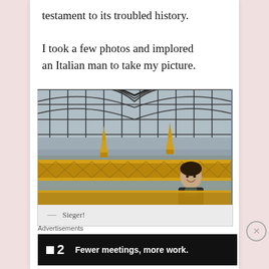testament to its troubled history.

I took a few photos and implored an Italian man to take my picture.
[Figure (photo): Photo of a person smiling at the camera on what appears to be a high observation deck or tower, with ornate golden spikes/decorative ironwork in the foreground and a large arched iron and glass structure behind them. City landscape visible in background under overcast sky.]
— Sieger!
Advertisements
[Figure (screenshot): Advertisement banner for '2' (possibly a software product): dark/black background with white square logo, bold number '2', and text 'Fewer meetings, more work.']